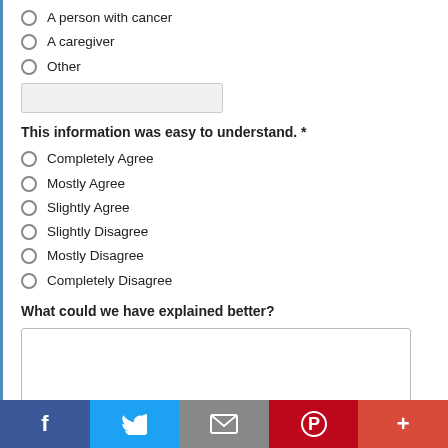A person with cancer
A caregiver
Other
This information was easy to understand. *
Completely Agree
Mostly Agree
Slightly Agree
Slightly Disagree
Mostly Disagree
Completely Disagree
What could we have explained better?